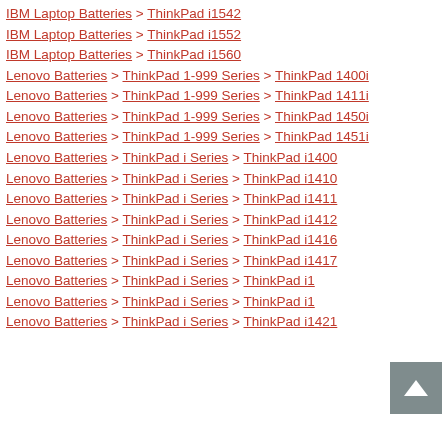IBM Laptop Batteries > ThinkPad i1542
IBM Laptop Batteries > ThinkPad i1552
IBM Laptop Batteries > ThinkPad i1560
Lenovo Batteries > ThinkPad 1-999 Series > ThinkPad 1400i
Lenovo Batteries > ThinkPad 1-999 Series > ThinkPad 1411i
Lenovo Batteries > ThinkPad 1-999 Series > ThinkPad 1450i
Lenovo Batteries > ThinkPad 1-999 Series > ThinkPad 1451i
Lenovo Batteries > ThinkPad i Series > ThinkPad i1400
Lenovo Batteries > ThinkPad i Series > ThinkPad i1410
Lenovo Batteries > ThinkPad i Series > ThinkPad i1411
Lenovo Batteries > ThinkPad i Series > ThinkPad i1412
Lenovo Batteries > ThinkPad i Series > ThinkPad i1416
Lenovo Batteries > ThinkPad i Series > ThinkPad i1417
Lenovo Batteries > ThinkPad i Series > ThinkPad i1...
Lenovo Batteries > ThinkPad i Series > ThinkPad i1...
Lenovo Batteries > ThinkPad i Series > ThinkPad i1421